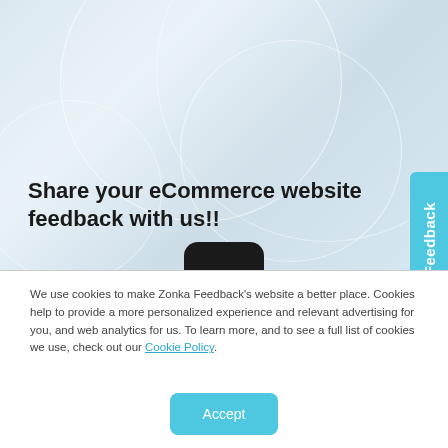[Figure (screenshot): Website screenshot showing a light blue/white abstract background with overlapping translucent circles and arcs. A cyan 'Feedback' tab is on the right edge. Text reads 'Share your eCommerce website feedback with us!!' A black pill/home indicator is at the bottom.]
We use cookies to make Zonka Feedback's website a better place. Cookies help to provide a more personalized experience and relevant advertising for you, and web analytics for us. To learn more, and to see a full list of cookies we use, check out our Cookie Policy.
Accept